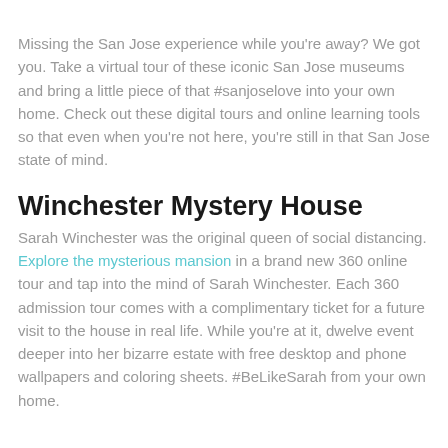Missing the San Jose experience while you're away? We got you. Take a virtual tour of these iconic San Jose museums and bring a little piece of that #sanjoselove into your own home. Check out these digital tours and online learning tools so that even when you're not here, you're still in that San Jose state of mind.
Winchester Mystery House
Sarah Winchester was the original queen of social distancing. Explore the mysterious mansion in a brand new 360 online tour and tap into the mind of Sarah Winchester. Each 360 admission tour comes with a complimentary ticket for a future visit to the house in real life. While you're at it, dwelve event deeper into her bizarre estate with free desktop and phone wallpapers and coloring sheets. #BeLikeSarah from your own home.